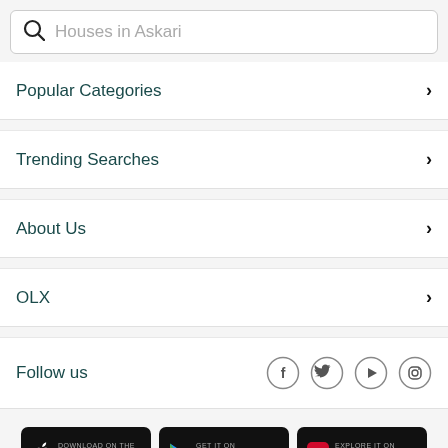Houses in Askari
Popular Categories
Trending Searches
About Us
OLX
Follow us
[Figure (screenshot): App store download buttons: App Store, Google Play, AppGallery]
Free Classifieds in Pakistan . © 2006-2022 OLX